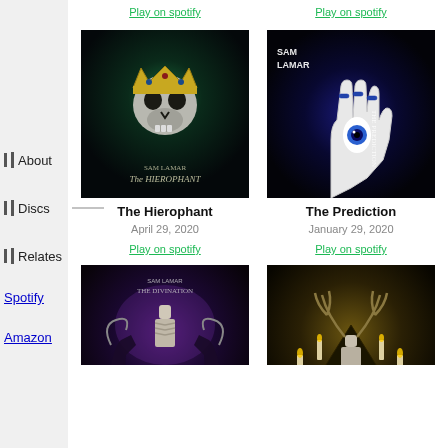Play on spotify (top left)
Play on spotify (top right)
[Figure (photo): Album cover for 'The Hierophant' by Sam Lamar - dark fantasy image of skull with gold crown]
[Figure (photo): Album cover for 'The Prediction' by Sam Lamar - dark image of hand with eye in palm]
The Hierophant
April 29, 2020
Play on spotify
The Prediction
January 29, 2020
Play on spotify
[Figure (photo): Album cover for 'The Divination' by Sam Lamar - dark figures with skeleton]
[Figure (photo): Album cover for 'Major Arcana' by Sam Lamar - dark figure with antlers and candles]
About
Discs
Relates
Spotify
Amazon